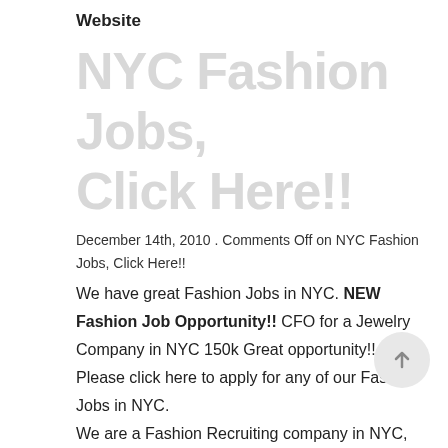Website
NYC Fashion Jobs, Click Here!!
December 14th, 2010 . Comments Off on NYC Fashion Jobs, Click Here!!
We have great Fashion Jobs in NYC. NEW Fashion Job Opportunity!! CFO for a Jewelry Company in NYC 150k Great opportunity!!. Please click here to apply for any of our Fashion Jobs in NYC.
We are a Fashion Recruiting company in NYC, The Fashion Network, servicing the Fashion Jobs market for the past 10 years. We pride ourselves in finding our Fashion candidates great fashion job opportunities in NYC. Our fashion clients look to us to provide quality candidates to them for various fashion